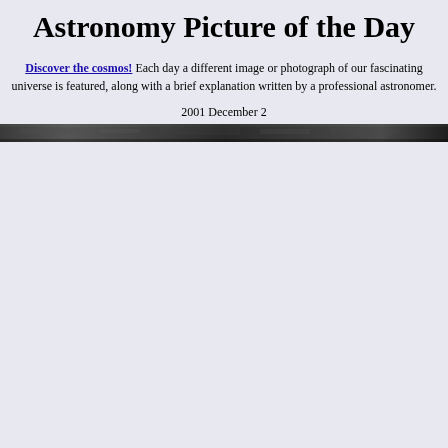Astronomy Picture of the Day
Discover the cosmos! Each day a different image or photograph of our fascinating universe is featured, along with a brief explanation written by a professional astronomer.
2001 December 2
[Figure (photo): A narrow dark horizontal banner image, appearing to show a faint astronomical scene, very dark with slight texture.]